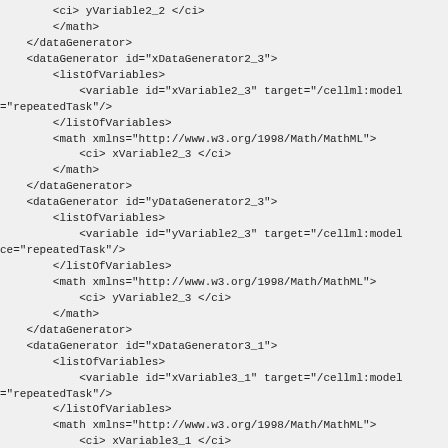XML code snippet showing SED-ML dataGenerator elements with listOfVariables and math elements for xVariable2_3, yVariable2_3, xVariable3_1